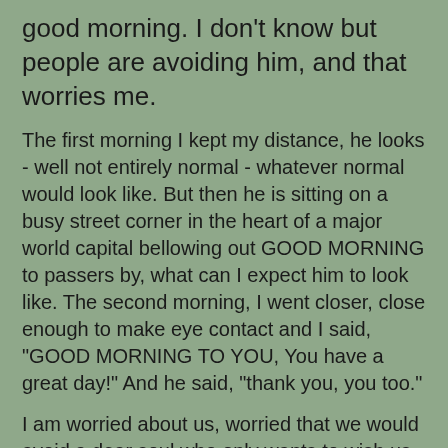good morning.  I don't know but people are avoiding him, and that worries me.
The first morning I kept my distance, he looks - well not entirely normal - whatever normal would look like.  But then he is sitting on a busy street corner in the heart of a major world capital bellowing out GOOD MORNING to passers by, what can I expect him to look like.  The second morning, I went closer, close enough to make eye contact and I said, "GOOD MORNING TO YOU, You have a great day!" And he said, "thank you, you too."
I am worried about us, worried that we would avoid a dear soul who only wants to wish us a Good Morning, a good day!  Maybe I will join him when I retire, wishing the world a GOOD MORNING!  Everyone needs something to do, some purpose in life, his is to wish the world a good morning.